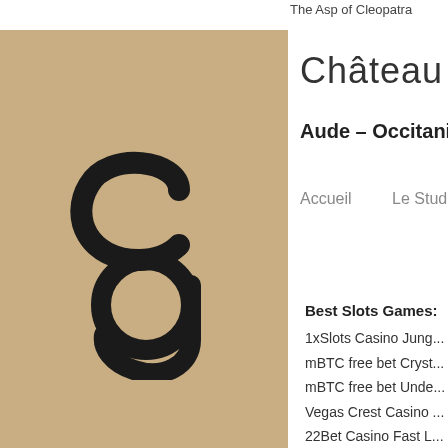The Asp of Cleopatra
[Figure (logo): Tan/gold square logo with stylized letter G in black]
Château de Gramazie
Aude – Occitanie
Accueil
Le Studio du Commandeur
Best Slots Games:
1xSlots Casino Jung...
mBTC free bet Cryst...
mBTC free bet Unde...
Vegas Crest Casino ...
22Bet Casino Fast L...
OneHash Fancy Frui...
mBit Casino Red Dra...